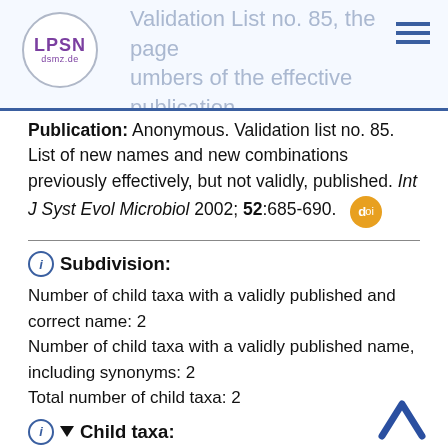Validation List no. 85, the page numbers of the effective publication are cited as "pp. 369-387"
Publication: Anonymous. Validation list no. 85. List of new names and new combinations previously effectively, but not validly, published. Int J Syst Evol Microbiol 2002; 52:685-690.
Subdivision:
Number of child taxa with a validly published and correct name: 2
Number of child taxa with a validly published name, including synonyms: 2
Total number of child taxa: 2
Child taxa: